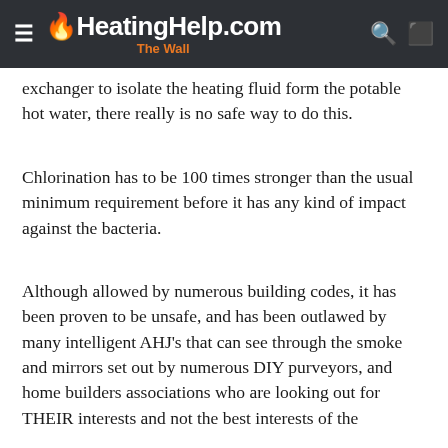HeatingHelp.com The Wall
exchanger to isolate the heating fluid form the potable hot water, there really is no safe way to do this.
Chlorination has to be 100 times stronger than the usual minimum requirement before it has any kind of impact against the bacteria.
Although allowed by numerous building codes, it has been proven to be unsafe, and has been outlawed by many intelligent AHJ's that can see through the smoke and mirrors set out by numerous DIY purveyors, and home builders associations who are looking out for THEIR interests and not the best interests of the